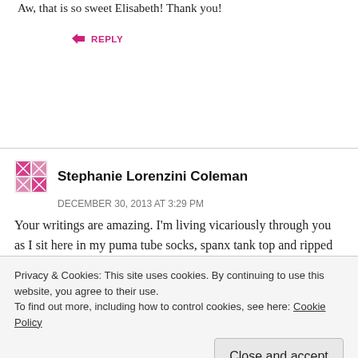Aw, that is so sweet Elisabeth! Thank you!
↳ REPLY
Stephanie Lorenzini Coleman
DECEMBER 30, 2013 AT 3:29 PM
Your writings are amazing. I'm living vicariously through you as I sit here in my puma tube socks, spanx tank top and ripped yoga pants, drinking coffee and picking cat hair
Privacy & Cookies: This site uses cookies. By continuing to use this website, you agree to their use.
To find out more, including how to control cookies, see here: Cookie Policy
Close and accept